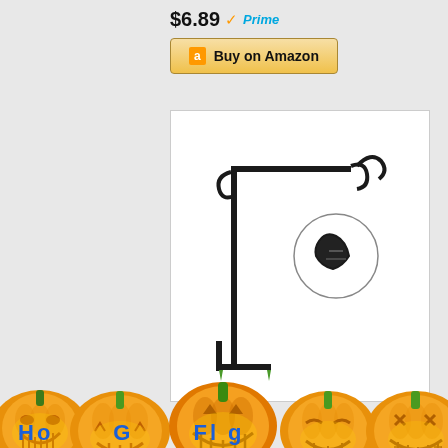$6.89 Prime
Buy on Amazon
[Figure (photo): Garden flag stand/pole with decorative curled top and clip detail inset circle, shown on white background]
[Figure (illustration): Row of five orange Halloween jack-o-lantern pumpkins with green stems and various carved faces, glowing yellow inside, at bottom of page]
Ho G Fl g